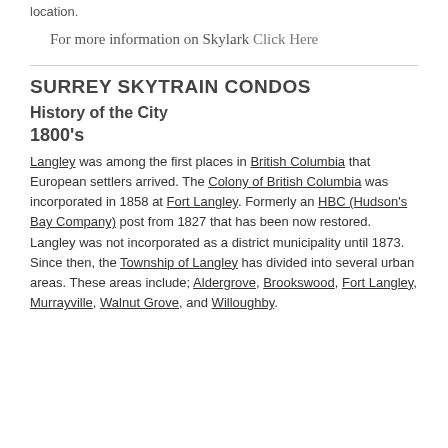location.
For more information on Skylark Click Here
SURREY SKYTRAIN CONDOS
History of the City
1800's
Langley was among the first places in British Columbia that European settlers arrived. The Colony of British Columbia was incorporated in 1858 at Fort Langley. Formerly an HBC (Hudson's Bay Company) post from 1827 that has been now restored. Langley was not incorporated as a district municipality until 1873. Since then, the Township of Langley has divided into several urban areas. These areas include; Aldergrove, Brookswood, Fort Langley, Murrayville, Walnut Grove, and Willoughby.